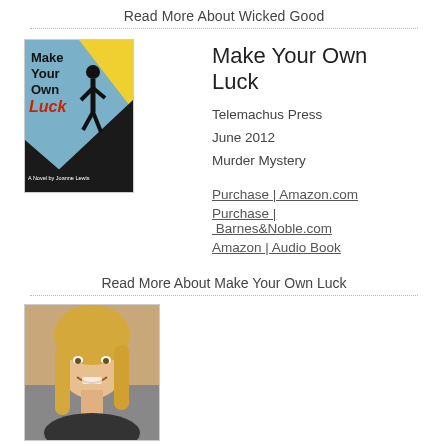Read More About Wicked Good
[Figure (illustration): Book cover for 'Make Your Own Luck' by Joanne Lewis, showing a silhouette figure on a diagonal dark slope with blue and yellow background sections, and red text for 'Luck']
Make Your Own Luck
Telemachus Press
June 2012
Murder Mystery
Purchase | Amazon.com
Purchase | Barnes&Noble.com
Amazon | Audio Book
Read More About Make Your Own Luck
[Figure (photo): Portrait photo of Joanne Lewis, a middle-aged woman with long blonde hair, smiling, wearing a dark top, outdoor setting]
Joanne Lewis